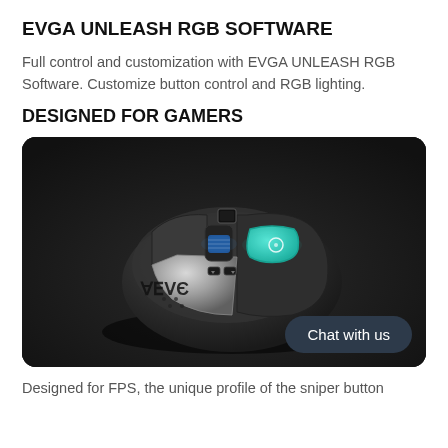EVGA UNLEASH RGB SOFTWARE
Full control and customization with EVGA UNLEASH RGB Software. Customize button control and RGB lighting.
DESIGNED FOR GAMERS
[Figure (photo): Close-up photo of an EVGA gaming mouse with RGB lighting, featuring a teal/cyan sniper button, blue scroll wheel LED, and chrome EVGA branding, placed on a dark textured surface. A 'Chat with us' bubble appears in the bottom-right corner of the image.]
Designed for FPS, the unique profile of the sniper button